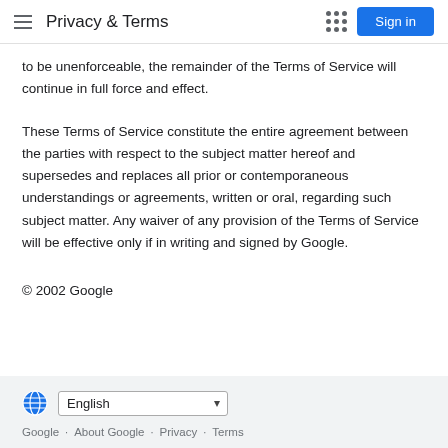Privacy & Terms
to be unenforceable, the remainder of the Terms of Service will continue in full force and effect.
These Terms of Service constitute the entire agreement between the parties with respect to the subject matter hereof and supersedes and replaces all prior or contemporaneous understandings or agreements, written or oral, regarding such subject matter. Any waiver of any provision of the Terms of Service will be effective only if in writing and signed by Google.
© 2002 Google
English | Google · About Google · Privacy · Terms